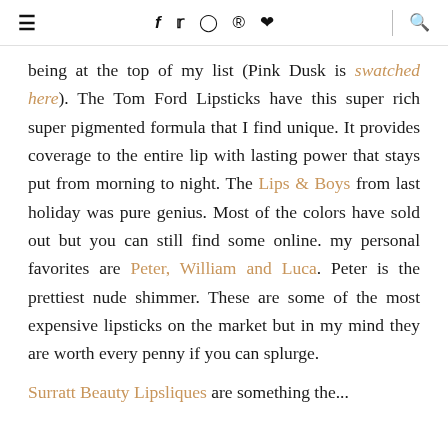≡  f  𝕥  ◎  ⊕  ♥  🔍
being at the top of my list (Pink Dusk is swatched here). The Tom Ford Lipsticks have this super rich super pigmented formula that I find unique. It provides coverage to the entire lip with lasting power that stays put from morning to night. The Lips & Boys from last holiday was pure genius. Most of the colors have sold out but you can still find some online. my personal favorites are Peter, William and Luca. Peter is the prettiest nude shimmer. These are some of the most expensive lipsticks on the market but in my mind they are worth every penny if you can splurge.
Surratt Beauty Lipsliques are something the…